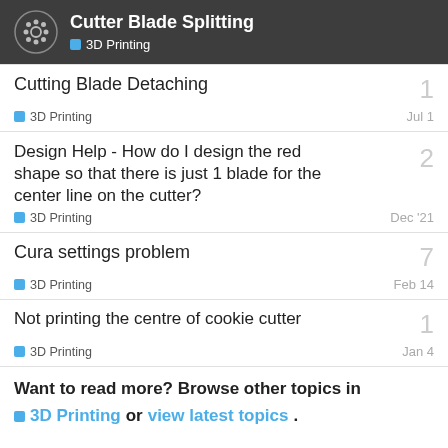Cutter Blade Splitting — 3D Printing
Cutting Blade Detaching
3D Printing   Jul 1   replies: 1
Design Help - How do I design the red shape so that there is just 1 blade for the center line on the cutter?
3D Printing   Dec '21   replies: 2
Cura settings problem
3D Printing   Feb 14   replies: 7
Not printing the centre of cookie cutter
3D Printing   Jan 4   replies: 1
Want to read more? Browse other topics in 3D Printing or view latest topics.